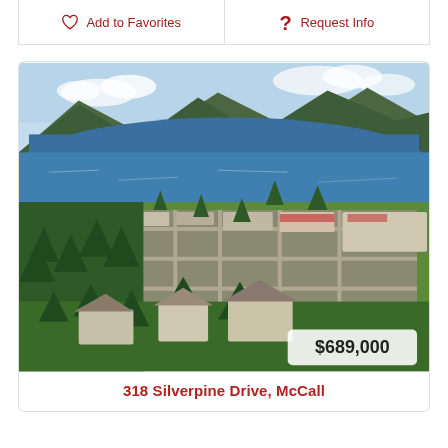Add to Favorites
Request Info
[Figure (photo): Aerial drone photo of McCall, Idaho showing a lakeside town with pine trees, residential neighborhoods, commercial buildings, and a large lake with mountains in the background. A price badge showing $689,000 is overlaid in the bottom right corner.]
$689,000
318 Silverpine Drive, McCall